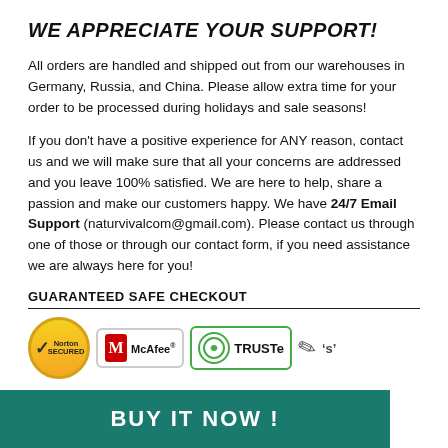WE APPRECIATE YOUR SUPPORT!
All orders are handled and shipped out from our warehouses in Germany, Russia, and China. Please allow extra time for your order to be processed during holidays and sale seasons!
If you don't have a positive experience for ANY reason, contact us and we will make sure that all your concerns are addressed and you leave 100% satisfied. We are here to help, share a passion and make our customers happy. We have 24/7 Email Support (naturvivalcom@gmail.com). Please contact us through one of those or through our contact form, if you need assistance we are always here for you!
GUARANTEED SAFE CHECKOUT
[Figure (logo): Norton, McAfee, TRUSTe, and other security badge logos indicating guaranteed safe checkout]
BUY IT NOW !